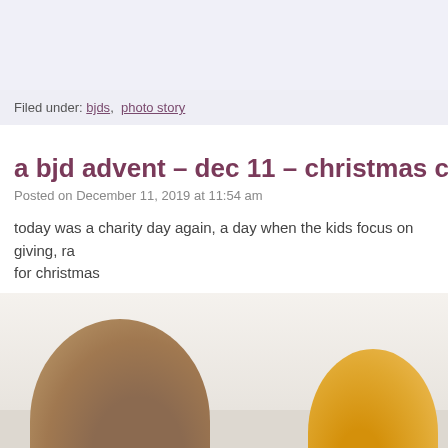Filed under: bjds, photo story
a bjd advent – dec 11 – christmas cards w
Posted on December 11, 2019 at 11:54 am
today was a charity day again, a day when the kids focus on giving, ra for christmas
[Figure (photo): Top-down view of two BJD (ball-jointed doll) heads showing their hair — one with brown hair on the left and one with blonde/golden hair on the right, photographed against a light textured background.]